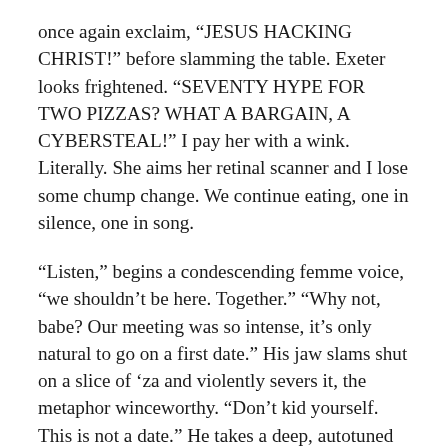once again exclaim, “JESUS HACKING CHRIST!” before slamming the table. Exeter looks frightened. “SEVENTY HYPE FOR TWO PIZZAS? WHAT A BARGAIN, A CYBERSTEAL!” I pay her with a wink. Literally. She aims her retinal scanner and I lose some chump change. We continue eating, one in silence, one in song.
“Listen,” begins a condescending femme voice, “we shouldn’t be here. Together.” “Why not, babe? Our meeting was so intense, it’s only natural to go on a first date.” His jaw slams shut on a slice of ‘za and violently severs it, the metaphor winceworthy. “Don’t kid yourself. This is not a date.” He takes a deep, autotuned breath. “ANYHOW. We were never supposed to meet. But we did. Now I’m back to square one and I’m richer not one, but three people who want me in a cooler.” I throw on puppy eyes and a pouty lip; he quickly checks his human